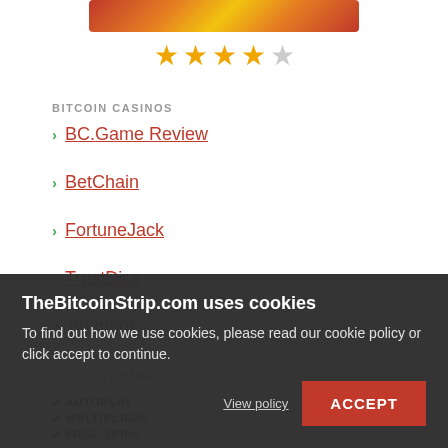[Figure (photo): Slot machine game banner image with colorful coins and symbols]
[Figure (other): Star rating: 4 out of 5 stars filled in gold, one empty star]
BITCOIN CASINOS
BC.Game Review
BetChain
FortuneJack
TrustDice
+ 80 more
SLOT FEATURES
✔ AUTOPLAY    REELS: 5
✔ MULTIPLIERS    PAYLINES: 30
✔ FREE SPINS
TheBitcoinStrip.com uses cookies
To find out how we use cookies, please read our cookie policy or click accept to continue.
View policy
ACCEPT
PLAY AT BC.GAME REVIEW